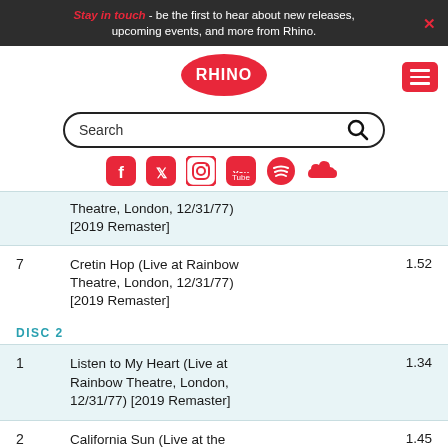Stay in touch - be the first to hear about new releases, upcoming events, and more from Rhino.
[Figure (logo): Rhino Records logo - white RHINO text on red oval]
[Figure (screenshot): Search bar with magnifying glass icon]
[Figure (infographic): Social media icons: Facebook, Twitter, Instagram, YouTube, Spotify, SoundCloud]
| # | Title | Duration |
| --- | --- | --- |
|  | Theatre, London, 12/31/77) [2019 Remaster] |  |
| 7 | Cretin Hop (Live at Rainbow Theatre, London, 12/31/77) [2019 Remaster] | 1.52 |
|  | DISC 2 |  |
| 1 | Listen to My Heart (Live at Rainbow Theatre, London, 12/31/77) [2019 Remaster] | 1.34 |
| 2 | California Sun (Live at the Rainbow Theatre, London | 1.45 |